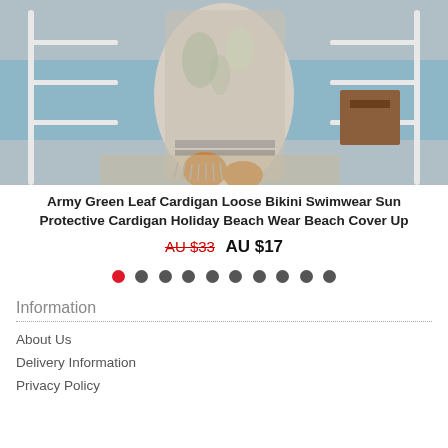[Figure (photo): Woman wearing a floral/leaf patterned loose beach cover-up cardigan, standing near white railings by a waterfront.]
Army Green Leaf Cardigan Loose Bikini Swimwear Sun Protective Cardigan Holiday Beach Wear Beach Cover Up
AU $33  AU $17
[Figure (other): Carousel navigation dots — one red (active) followed by nine dark grey dots]
Information
About Us
Delivery Information
Privacy Policy